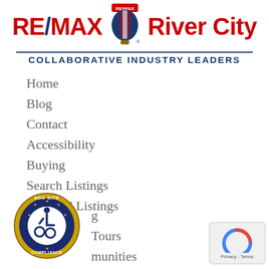[Figure (logo): RE/MAX River City logo with hot air balloon and tagline COLLABORATIVE INDUSTRY LEADERS]
Home
Blog
Contact
Accessibility
Buying
Search Listings
Featured Listings
[Figure (logo): ADA Site Compliance badge with wheelchair accessibility symbol]
Tours
munities
[Figure (other): Google reCAPTCHA Privacy - Terms badge]